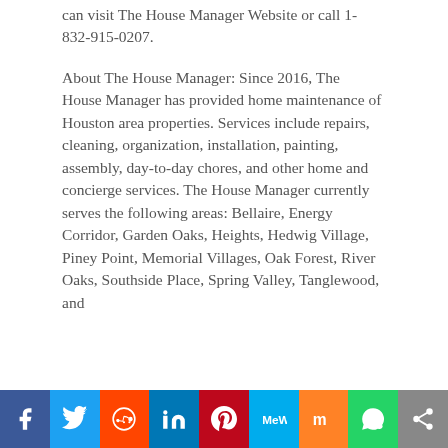can visit The House Manager Website or call 1-832-915-0207.
About The House Manager: Since 2016, The House Manager has provided home maintenance of Houston area properties. Services include repairs, cleaning, organization, installation, painting, assembly, day-to-day chores, and other home and concierge services. The House Manager currently serves the following areas: Bellaire, Energy Corridor, Garden Oaks, Heights, Hedwig Village, Piney Point, Memorial Villages, Oak Forest, River Oaks, Southside Place, Spring Valley, Tanglewood, and
[Figure (infographic): Social media sharing bar with icons: Facebook, Twitter, Reddit, LinkedIn, Pinterest, MeWe, Mix, WhatsApp, Share]